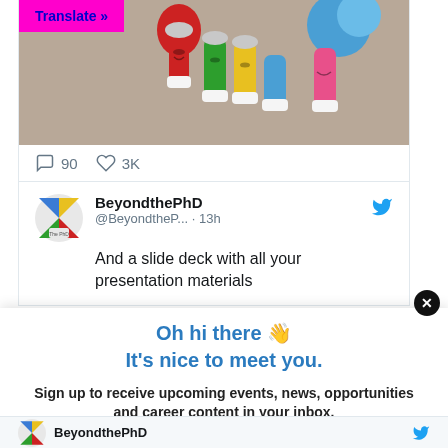[Figure (screenshot): Screenshot of a Twitter/social media card showing colorful crocheted test tubes with smiley faces. A magenta 'Translate »' button overlay appears in the top-left corner. Below the image are interaction counts: 90 comments and 3K likes.]
90  3K
[Figure (screenshot): Twitter profile card for BeyondthePhD (@BeyondtheP...) posted 13h ago with blue Twitter bird icon. Tweet text reads: 'And a slide deck with all your presentation materials']
BeyondthePhD
@BeyondtheP... · 13h
And a slide deck with all your presentation materials
Oh hi there 👋
It's nice to meet you.
Sign up to receive upcoming events, news, opportunities and career content in your inbox.
[Figure (screenshot): Bottom strip showing BeyondthePhD logo and name with Twitter bird icon]